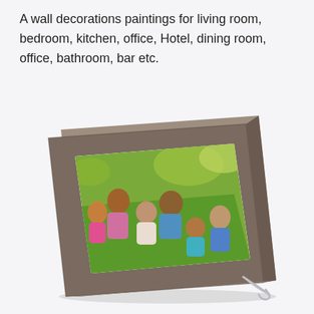A wall decorations paintings for living room, bedroom, kitchen, office, Hotel, dining room, office, bathroom, bar etc.
[Figure (photo): A picture frame shown at an angle with a gray/brown border and a metal stand/easel at the back. Inside the frame is a family photo showing a multi-generational family of six people sitting together on grass outdoors, smiling. The family includes adults and children wearing colorful clothing (pink, blue, teal). Green foliage is visible in the background.]